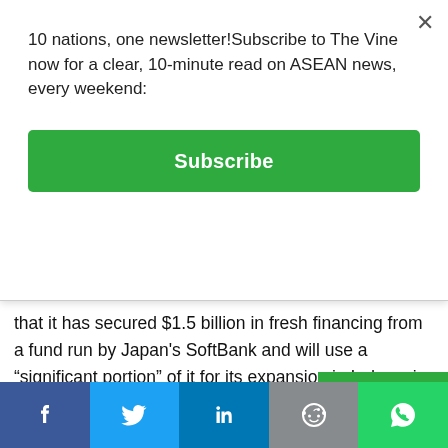10 nations, one newsletter!Subscribe to The Vine now for a clear, 10-minute read on ASEAN news, every weekend:
Subscribe
that it has secured $1.5 billion in fresh financing from a fund run by Japan’s SoftBank and will use a “significant portion” of it for its expansion in Indonesia. The fresh investment from the Vision Fund of SoftBank Group brings the total financing secured by Grab over the past year to more than $4.5 billion. Toyota Motor, Hyundai Motor, Oppenheimer Funds and Microsoft Corp are among the major investors in Grab over the past year. SoftBank is owned by Japan’s richest man Masayoshi Son. The firm has seen its business growing rapidly...
Read More